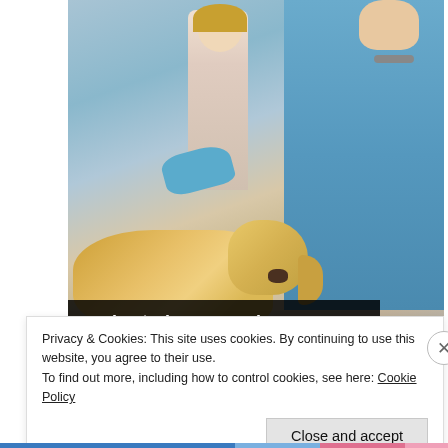[Figure (screenshot): Video player showing a veterinarian in blue scrubs examining a golden retriever dog on an exam table, with a young girl standing behind. Video playback controls (skip back, pause, skip forward) are visible in the bottom right. A progress bar is shown near the bottom.]
mwi veterinary supply company Practice Manager Jobs in Ashburn Apply Now
[Figure (photo): Thumbnail image of a blonde woman's face, used as article thumbnail.]
Virginia Will Cover The Cost To Install Solar if You Live in
Privacy & Cookies: This site uses cookies. By continuing to use this website, you agree to their use.
To find out more, including how to control cookies, see here: Cookie Policy
Close and accept